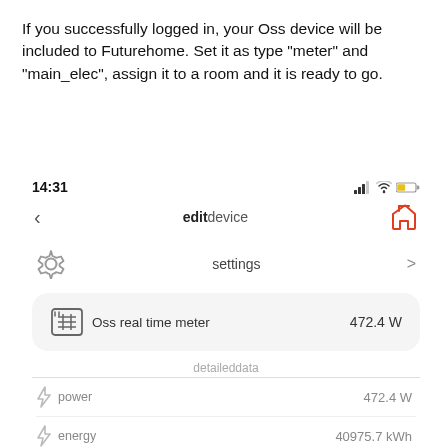If you successfully logged in, your Oss device will be included to Futurehome. Set it as type "meter" and "main_elec", assign it to a room and it is ready to go.
[Figure (screenshot): Mobile app screenshot showing Futurehome app edit device screen with time 14:31, settings menu, Oss real time meter reading of 472.4 W, and detailed data section showing power 472.4 W, energy 40975.7 kWh, e_export 0.0 kWh]